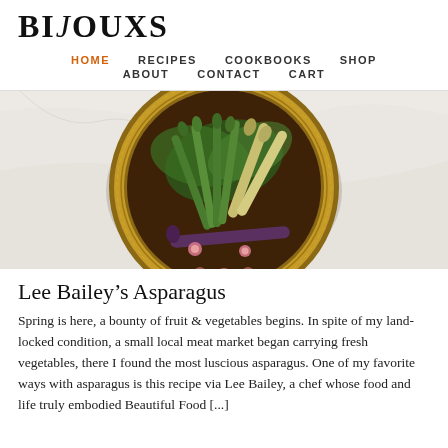BIJOUXS
HOME   RECIPES   COOKBOOKS   SHOP   ABOUT   CONTACT   CART
[Figure (photo): Overhead photo of asparagus arranged on a decorative round plate with floral and Greek key border pattern, on a marble surface]
Lee Bailey’s Asparagus
Spring is here, a bounty of fruit & vegetables begins. In spite of my land-locked condition, a small local meat market began carrying fresh vegetables, there I found the most luscious asparagus. One of my favorite ways with asparagus is this recipe via Lee Bailey, a chef whose food and life truly embodied Beautiful Food [...]